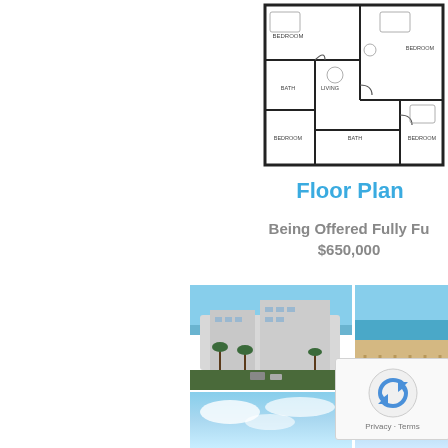[Figure (schematic): Floor plan architectural drawing showing multi-bedroom condo layout with room labels and dimensions]
Floor Plan
Being Offered Fully Fu
$650,000
[Figure (photo): Aerial photograph of a beachfront condominium complex with palm trees and ocean view]
[Figure (photo): Beach and ocean view from balcony with railing visible]
[Figure (photo): Sky and clouds view]
[Figure (photo): Cloudy sky view]